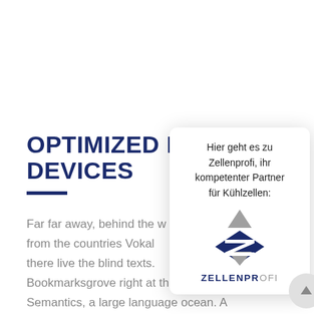OPTIMIZED FOR DEVICES
Far far away, behind the w... from the countries Vokali... there live the blind texts. Bookmarksgrove right at the coast of the Semantics, a large language ocean. A small river named Duden flows by their place and
[Figure (other): Zellenprofi popup card with text 'Hier geht es zu Zellenprofi, ihr kompetenter Partner für Kühlzellen:' and Zellenprofi logo (diamond/arrow geometric mark in dark blue and gray, with ZELLENPROFI wordmark). Also contains a scroll-to-top circular button with an upward arrow.]